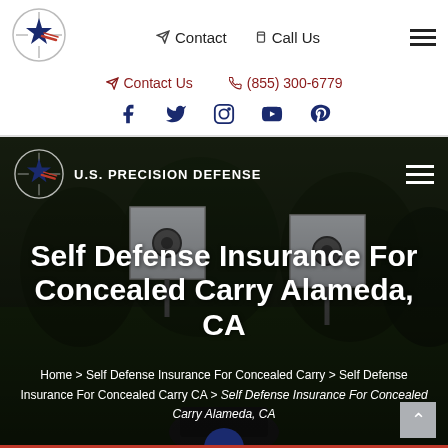[Figure (logo): U.S. Precision Defense logo — circular badge with star and rifle silhouette]
Contact   Call Us
Contact Us   (855) 300-6779
[Figure (infographic): Social media icons: Facebook, Twitter, Instagram, YouTube, Pinterest]
[Figure (photo): Shooting range background with target boards on grass, dark overlay. U.S. Precision Defense logo and hamburger menu overlaid at top.]
Self Defense Insurance For Concealed Carry Alameda, CA
Home > Self Defense Insurance For Concealed Carry > Self Defense Insurance For Concealed Carry CA > Self Defense Insurance For Concealed Carry Alameda, CA